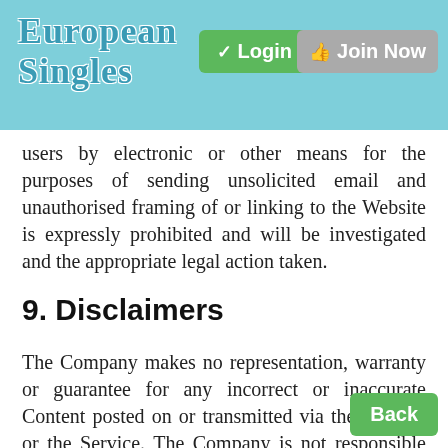European Singles | Login | Join Now
users by electronic or other means for the purposes of sending unsolicited email and unauthorised framing of or linking to the Website is expressly prohibited and will be investigated and the appropriate legal action taken.
9. Disclaimers
The Company makes no representation, warranty or guarantee for any incorrect or inaccurate Content posted on or transmitted via the Website or the Service. The Company is not responsible for the conduct, whether offline or online, of any User of the Website or Service. Despite Users of the service agreeing to these Terms and Conditions, the Company cannot guarantee that each User is at least